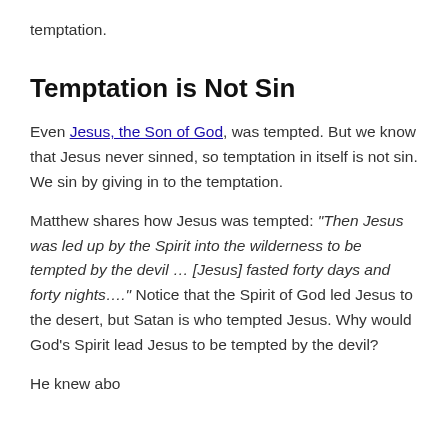temptation.
Temptation is Not Sin
Even Jesus, the Son of God, was tempted. But we know that Jesus never sinned, so temptation in itself is not sin. We sin by giving in to the temptation.
Matthew shares how Jesus was tempted: “Then Jesus was led up by the Spirit into the wilderness to be tempted by the devil … [Jesus] fasted forty days and forty nights….” Notice that the Spirit of God led Jesus to the desert, but Satan is who tempted Jesus. Why would God’s Spirit lead Jesus to be tempted by the devil?
He knew abo...